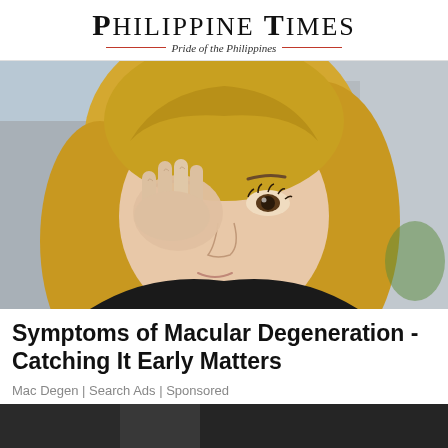PHILIPPINE TIMES — Pride of the Philippines
[Figure (photo): Close-up photo of a young blonde woman touching/rubbing her eye with her fingers, looking distressed, with a blurred outdoor background]
Symptoms of Macular Degeneration - Catching It Early Matters
Mac Degen | Search Ads | Sponsored
[Figure (photo): Partially visible image at bottom of page, dark tones]